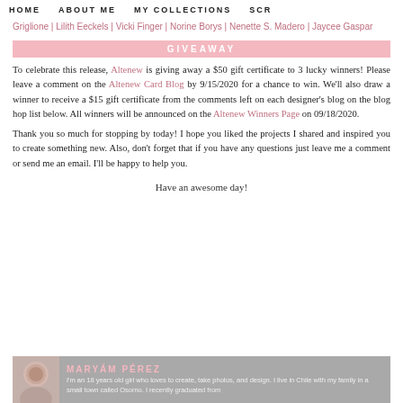HOME   ABOUT ME   MY COLLECTIONS   SCR
Griglione | Lilith Eeckels | Vicki Finger | Norine Borys | Nenette S. Madero | Jaycee Gaspar
GIVEAWAY
To celebrate this release, Altenew is giving away a $50 gift certificate to 3 lucky winners! Please leave a comment on the Altenew Card Blog by 9/15/2020 for a chance to win. We'll also draw a winner to receive a $15 gift certificate from the comments left on each designer's blog on the blog hop list below. All winners will be announced on the Altenew Winners Page on 09/18/2020.
Thank you so much for stopping by today! I hope you liked the projects I shared and inspired you to create something new. Also, don't forget that if you have any questions just leave me a comment or send me an email. I'll be happy to help you.
Have an awesome day!
MARYÁM PÉREZ — I'm an 18 years old girl who loves to create, take photos, and design. I live in Chile with my family in a small town called Osorno. I recently graduated from